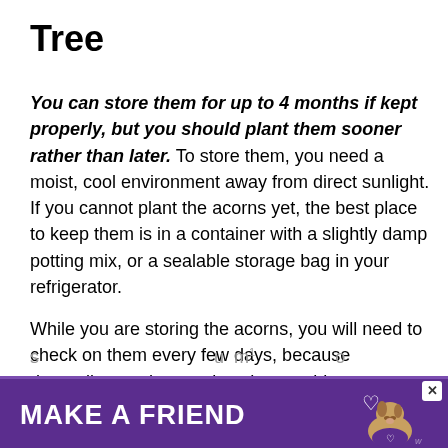Tree
You can store them for up to 4 months if kept properly, but you should plant them sooner rather than later. To store them, you need a moist, cool environment away from direct sunlight. If you cannot plant the acorns yet, the best place to keep them is in a container with a slightly damp potting mix, or a sealable storage bag in your refrigerator.
While you are storing the acorns, you will need to check on them every few days, because depending on the species, they could start s... u m¹ o
[Figure (other): Advertisement banner with purple background reading MAKE A FRIEND with a dog image and close button]